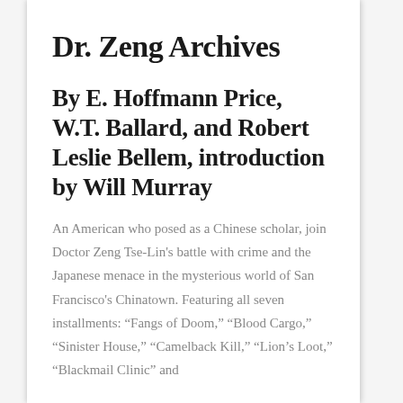Dr. Zeng Archives
By E. Hoffmann Price, W.T. Ballard, and Robert Leslie Bellem, introduction by Will Murray
An American who posed as a Chinese scholar, join Doctor Zeng Tse-Lin's battle with crime and the Japanese menace in the mysterious world of San Francisco's Chinatown. Featuring all seven installments: “Fangs of Doom,” “Blood Cargo,” “Sinister House,” “Camelback Kill,” “Lion’s Loot,” “Blackmail Clinic” and